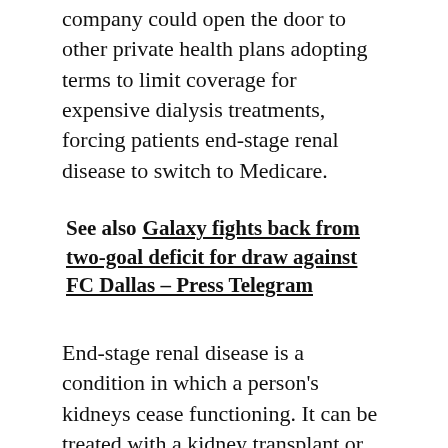company could open the door to other private health plans adopting terms to limit coverage for expensive dialysis treatments, forcing patients end-stage renal disease to switch to Medicare.
See also  Galaxy fights back from two-goal deficit for draw against FC Dallas – Press Telegram
End-stage renal disease is a condition in which a person's kidneys cease functioning. It can be treated with a kidney transplant or dialysis.
“Alongside the kidney care community, we